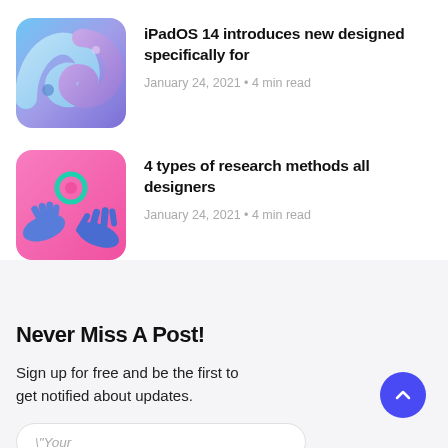[Figure (illustration): Thumbnail image of iPad Air with spiral/swirl shapes in blue and purple tones]
iPadOS 14 introduces new designed specifically for
January 24, 2021 • 4 min read
[Figure (illustration): Thumbnail with pink background showing two blue hands reaching toward each other with a teal circular logo]
4 types of research methods all designers
January 24, 2021 • 4 min read
Never Miss A Post!
Sign up for free and be the first to get notified about updates.
"Your